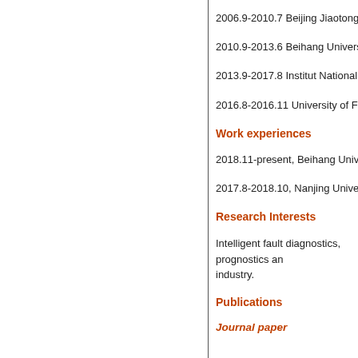2006.9-2010.7 Beijing Jiaotong University,
2010.9-2013.6 Beihang University, Industr
2013.9-2017.8 Institut National des Scienc
2016.8-2016.11 University of Florida, Dep
Work experiences
2018.11-present, Beihang University, assist
2017.8-2018.10, Nanjing University of Sci
Research Interests
Intelligent fault diagnostics, prognostics an industry.
Publications
Journal paper